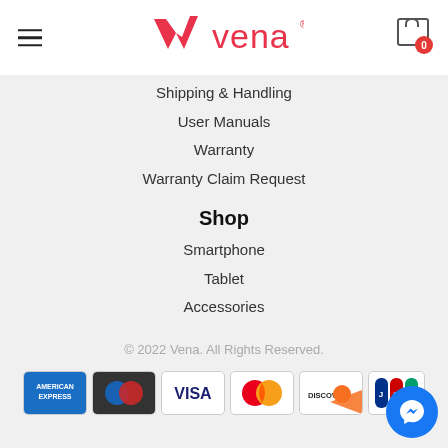[Figure (logo): Vena brand logo in red/pink on white header with hamburger menu and cart icon]
Shipping & Handling
User Manuals
Warranty
Warranty Claim Request
Shop
Smartphone
Tablet
Accessories
© 2022 Vena. All Rights Reserved.
[Figure (other): Payment method icons: American Express, Mastercard (dark), Visa, Mastercard (red/yellow), Discover, JCB]